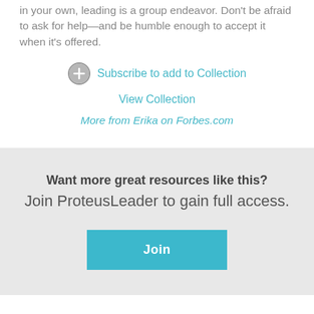in your own, leading is a group endeavor. Don't be afraid to ask for help—and be humble enough to accept it when it's offered.
Subscribe to add to Collection
View Collection
More from Erika on Forbes.com
Want more great resources like this?
Join ProteusLeader to gain full access.
Join